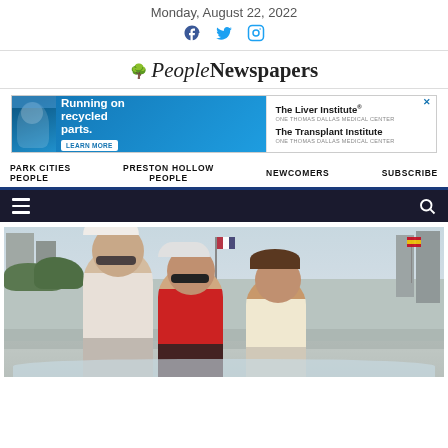Monday, August 22, 2022
[Figure (logo): People Newspapers logo with tree icon]
[Figure (infographic): Advertisement banner: Running on recycled parts. LEARN MORE – The Liver Institute / The Transplant Institute]
PARK CITIES PEOPLE
PRESTON HOLLOW PEOPLE
NEWCOMERS
SUBSCRIBE
[Figure (photo): Three people posing outdoors at what appears to be an event, with city buildings and flags (American and Spanish) in the background]